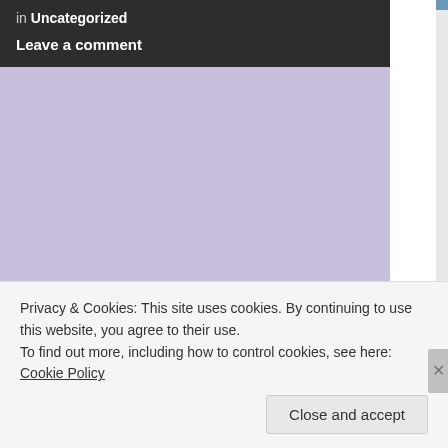in Uncategorized
Leave a comment
[Figure (photo): A cat photographed from the side, showing mainly the head and fur, set against a blue background with a white vertical element on the left. The photo has a vintage, slightly washed-out color tone.]
Privacy & Cookies: This site uses cookies. By continuing to use this website, you agree to their use.
To find out more, including how to control cookies, see here: Cookie Policy
Close and accept